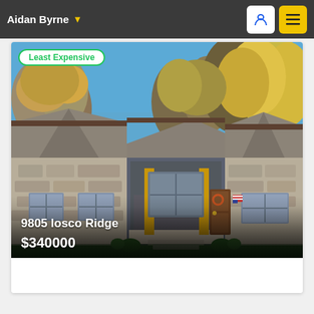Aidan Byrne
[Figure (photo): Exterior photo of a single-story ranch-style house with stone facade, brown trim, multi-gabled gray shingle roof, covered front porch with wooden columns and chairs, surrounded by trees on an autumn day with blue sky. Badge overlay reads 'Least Expensive'. Address overlay: '9805 Iosco Ridge'. Price overlay: '$340000'.]
Least Expensive
9805 Iosco Ridge
$340000